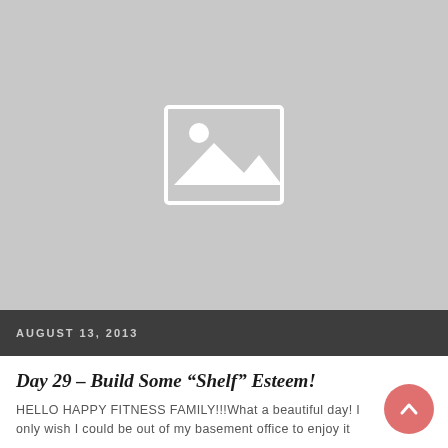[Figure (photo): Placeholder image with grey background and image icon (mountain/landscape placeholder)]
AUGUST 13, 2013
Day 29 – Build Some “Shelf” Esteem!
HELLO HAPPY FITNESS FAMILY!!!What a beautiful day! I only wish I could be out of my basement office to enjoy it